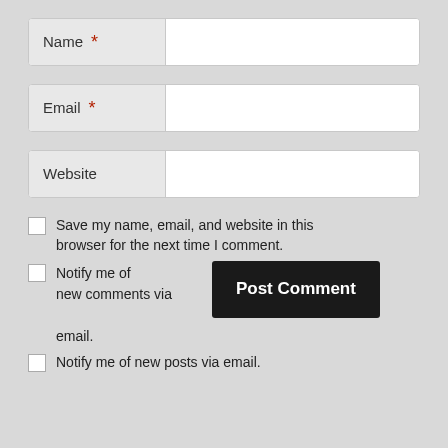Name *
Email *
Website
Save my name, email, and website in this browser for the next time I comment.
Notify me of new comments via email.
Post Comment
Notify me of new posts via email.